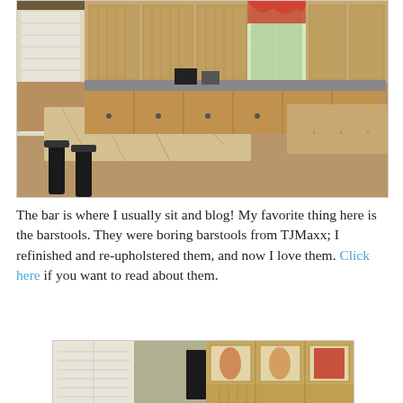[Figure (photo): Kitchen interior with granite island countertop, wooden cabinets, barstools, and window with decorative curtain valance]
The bar is where I usually sit and blog! My favorite thing here is the barstools. They were boring barstools from TJMaxx; I refinished and re-upholstered them, and now I love them. Click here if you want to read about them.
[Figure (photo): Interior room with white shuttered window, wooden cabinets with glass doors displaying decorative items]